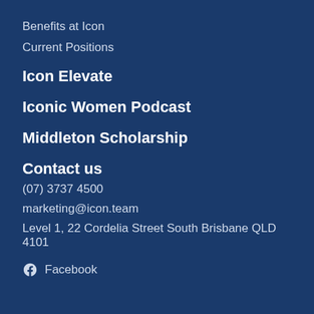Benefits at Icon
Current Positions
Icon Elevate
Iconic Women Podcast
Middleton Scholarship
Contact us
(07) 3737 4500
marketing@icon.team
Level 1, 22 Cordelia Street South Brisbane QLD 4101
Facebook